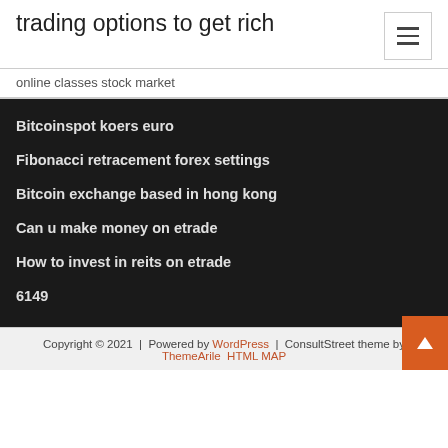trading options to get rich
online classes stock market
Bitcoinspot koers euro
Fibonacci retracement forex settings
Bitcoin exchange based in hong kong
Can u make money on etrade
How to invest in reits on etrade
6149
Copyright © 2021 | Powered by WordPress | ConsultStreet theme by ThemeArile HTML MAP